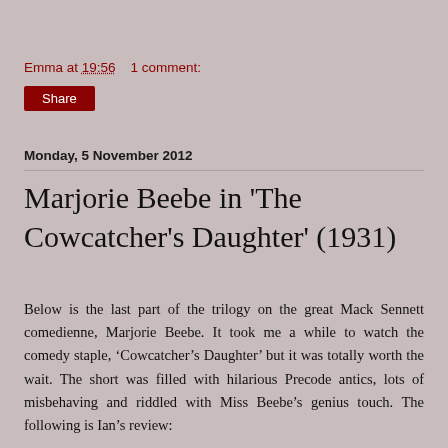Emma at 19:56    1 comment:
Share
Monday, 5 November 2012
Marjorie Beebe in 'The Cowcatcher's Daughter' (1931)
Below is the last part of the trilogy on the great Mack Sennett comedienne, Marjorie Beebe. It took me a while to watch the comedy staple, ‘Cowcatcher’s Daughter’ but it was totally worth the wait. The short was filled with hilarious Precode antics, lots of misbehaving and riddled with Miss Beebe’s genius touch. The following is Ian’s review: